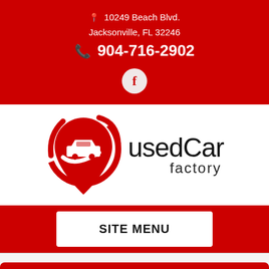10249 Beach Blvd. Jacksonville, FL 32246
904-716-2902
[Figure (logo): Used Car Factory logo: red heart/map-pin shape with white car silhouette and swish, next to text 'usedCar factory']
SITE MENU
← Return to Inventory List
Text Us